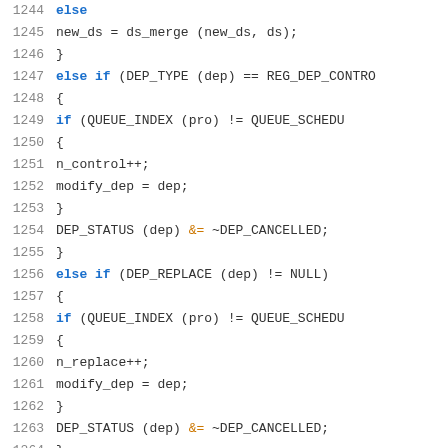[Figure (screenshot): Source code listing showing lines 1244-1265 of a C program, displaying conditional logic for dependency type checking involving DEP_TYPE, REG_DEP_CONTROL, QUEUE_INDEX, QUEUE_SCHEDU, DEP_STATUS, DEP_CANCELLED, DEP_REPLACE, n_control, n_replace, and modify_dep variables.]